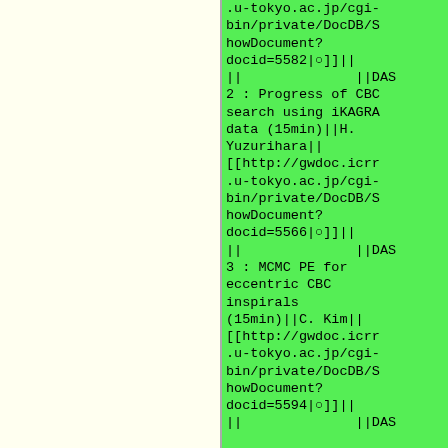.u-tokyo.ac.jp/cgi-bin/private/DocDB/ShowDocument?docid=5582|○]]||
||              ||DAS 2 : Progress of CBC search using iKAGRA data (15min)||H. Yuzurihara||[[http://gwdoc.icrr.u-tokyo.ac.jp/cgi-bin/private/DocDB/ShowDocument?docid=5566|○]]||
||              ||DAS 3 : MCMC PE for eccentric CBC inspirals (15min)||C. Kim||[[http://gwdoc.icrr.u-tokyo.ac.jp/cgi-bin/private/DocDB/ShowDocument?docid=5594|○]]||
||              ||DAS